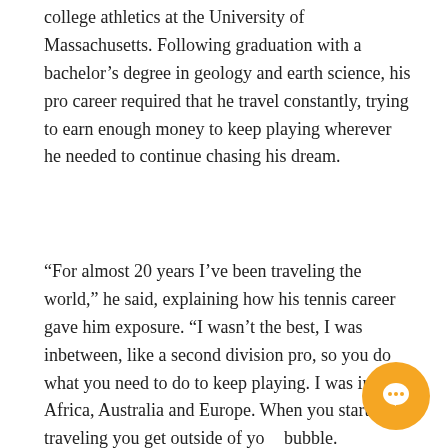college athletics at the University of Massachusetts. Following graduation with a bachelor's degree in geology and earth science, his pro career required that he travel constantly, trying to earn enough money to keep playing wherever he needed to continue chasing his dream.
“For almost 20 years I’ve been traveling the world,” he said, explaining how his tennis career gave him exposure. “I wasn’t the best, I was inbetween, like a second division pro, so you do what you need to do to keep playing. I was in Africa, Australia and Europe. When you start traveling you get outside of your bubble. Basically, it was the experience to travel around the world and see the